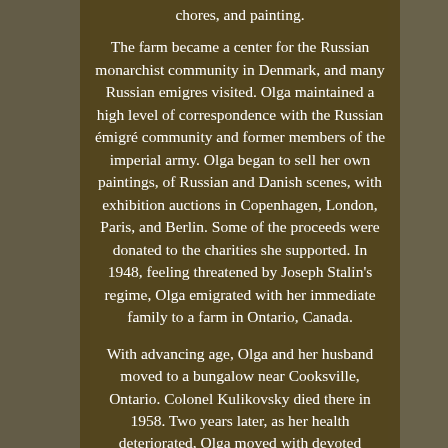chores, and painting.
The farm became a center for the Russian monarchist community in Denmark, and many Russian emigres visited. Olga maintained a high level of correspondence with the Russian émigré community and former members of the imperial army. Olga began to sell her own paintings, of Russian and Danish scenes, with exhibition auctions in Copenhagen, London, Paris, and Berlin. Some of the proceeds were donated to the charities she supported. In 1948, feeling threatened by Joseph Stalin's regime, Olga emigrated with her immediate family to a farm in Ontario, Canada.
With advancing age, Olga and her husband moved to a bungalow near Cooksville, Ontario. Colonel Kulikovsky died there in 1958. Two years later, as her health deteriorated, Olga moved with devoted